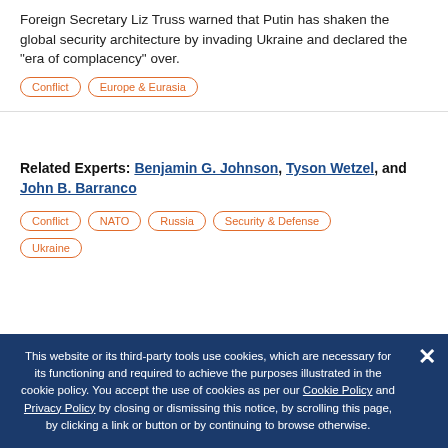Foreign Secretary Liz Truss warned that Putin has shaken the global security architecture by invading Ukraine and declared the "era of complacency" over.
Conflict
Europe & Eurasia
Related Experts: Benjamin G. Johnson, Tyson Wetzel, and John B. Barranco
Conflict
NATO
Russia
Security & Defense
Ukraine
This website or its third-party tools use cookies, which are necessary for its functioning and required to achieve the purposes illustrated in the cookie policy. You accept the use of cookies as per our Cookie Policy and Privacy Policy by closing or dismissing this notice, by scrolling this page, by clicking a link or button or by continuing to browse otherwise.